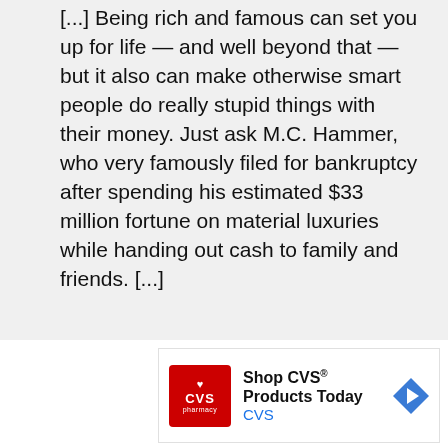[...] Being rich and famous can set you up for life — and well beyond that — but it also can make otherwise smart people do really stupid things with their money. Just ask M.C. Hammer, who very famously filed for bankruptcy after spending his estimated $33 million fortune on material luxuries while handing out cash to family and friends. [...]
[Figure (other): CVS Pharmacy advertisement banner. Shows CVS Pharmacy logo (red square with heart and CVS text), text 'Shop CVS® Products Today' in bold and 'CVS' in blue below, with a blue diamond-shaped arrow icon on the right. Below the banner are play and close control buttons.]